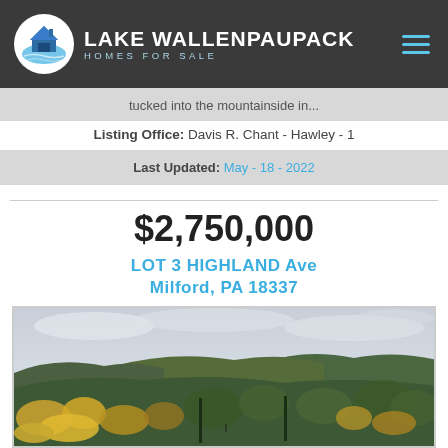LAKE WALLENPAUPACK HOMES FOR SALE
tucked into the mountainside in...
Listing Office: Davis R. Chant - Hawley - 1
Last Updated: May - 18 - 2022
$2,750,000
LOT 3 HIGHLAND Ave
Milford, PA 18337
[Figure (photo): Aerial landscape view of forested mountainside with valley and lake in the background under overcast sky, autumn foliage visible.]